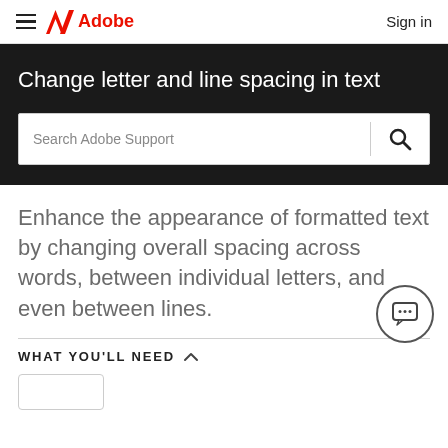Adobe — Sign in
Change letter and line spacing in text
[Figure (screenshot): Search Adobe Support input field with magnifying glass icon]
Enhance the appearance of formatted text by changing overall spacing across words, between individual letters, and even between lines.
WHAT YOU'LL NEED